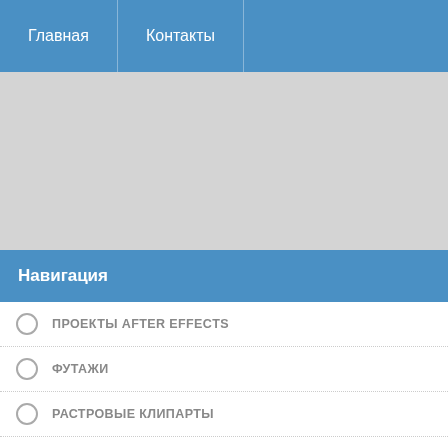Главная  Контакты
Навигация
ПРОЕКТЫ AFTER EFFECTS
ФУТАЖИ
РАСТРОВЫЕ КЛИПАРТЫ
ВЕКТОРНЫЕ КЛИПАРТЫ
ВСЁ ДЛЯ ФОТОШОПА
КАРТИНКИ И ФОТО
РАБОЧИЙ СТОЛ
ВИДЕО УРОКИ
ПРОГРАММЫ
Фото видео монтаж » ПР